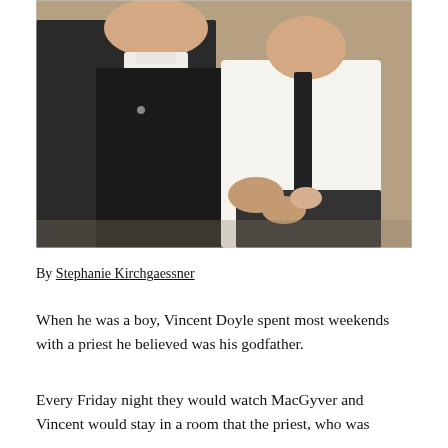[Figure (photo): A vintage photograph of a Catholic priest in black clerical clothing with a white collar, holding a young boy dressed in a white shirt and dark tie. The photo appears to be from the 1980s with a warm brownish background.]
By Stephanie Kirchgaessner
When he was a boy, Vincent Doyle spent most weekends with a priest he believed was his godfather.
Every Friday night they would watch MacGyver and Vincent would stay in a room that the priest, who was